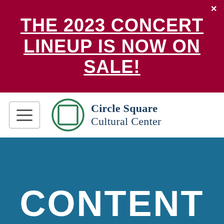THE 2023 CONCERT LINEUP IS NOW ON SALE!
[Figure (logo): Circle Square Cultural Center logo with circular square icon and text]
CONTENT